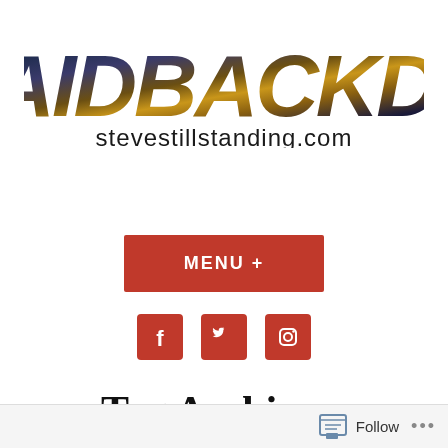[Figure (logo): LaidBackDM logo with stylized fantasy/cosmic textured lettering and subtitle stevestillstanding.com]
[Figure (other): Red MENU + button]
[Figure (other): Social media icons: Facebook, Twitter, Instagram in red squares]
Tag Archives: Environment
Follow ...